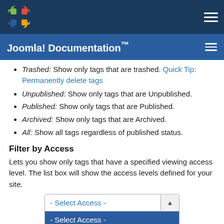Joomla! Documentation™
Trashed: Show only tags that are trashed. Quick Tip: Permanently delete tags
Unpublished: Show only tags that are Unpublished.
Published: Show only tags that are Published.
Archived: Show only tags that are Archived.
All: Show all tags regardless of published status.
Filter by Access
Lets you show only tags that have a specified viewing access level. The list box will show the access levels defined for your site.
[Figure (screenshot): A dropdown widget labeled '- Select Access -' showing options: '- Select Access -' (highlighted in blue) and 'Public']